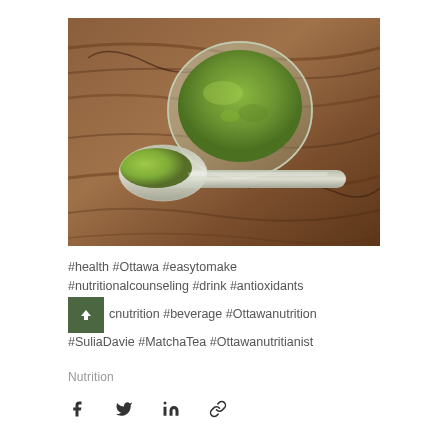[Figure (photo): Top-down view of a glass bowl filled with green matcha powder and a metal spoon with matcha powder on a wooden surface]
#health #Ottawa #easytomake #nutritionalcounseling #drink #antioxidants #organicnutrition #beverage #Ottawanutrition #SuliaDavie #MatchaTea #Ottawanutritianist
Nutrition
[Figure (infographic): Social media share icons: Facebook, Twitter, LinkedIn, Link]